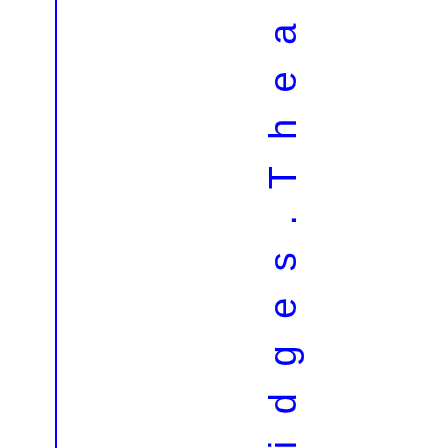a by a bel tof car tr id ges. The a y